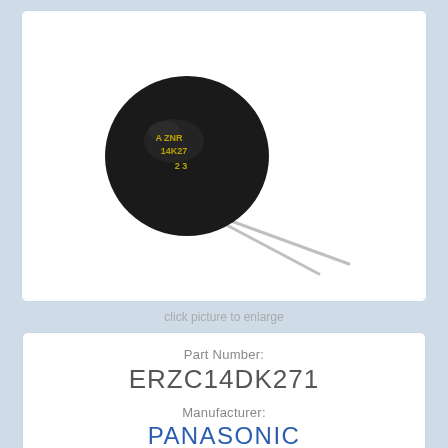[Figure (photo): A ZNR varistor component (ERZC14DK271 by Panasonic) — a black disc-shaped electronic component with two long silver metal leads extending downward at an angle. The disc is labeled 'A ZNR 14K27 2 3'. White background inside a rounded white card.]
click picture to enlarge
Part Number:
ERZC14DK271
Manufacturer:
PANASONIC